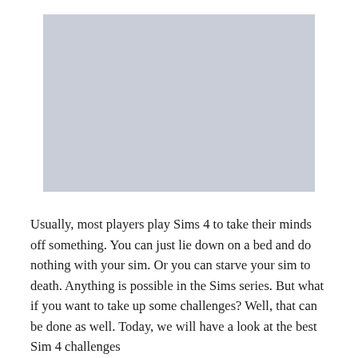[Figure (other): A light gray rectangular placeholder image, representing a Sims 4 related graphic.]
Usually, most players play Sims 4 to take their minds off something. You can just lie down on a bed and do nothing with your sim. Or you can starve your sim to death. Anything is possible in the Sims series. But what if you want to take up some challenges? Well, that can be done as well. Today, we will have a look at the best Sim 4 challenges